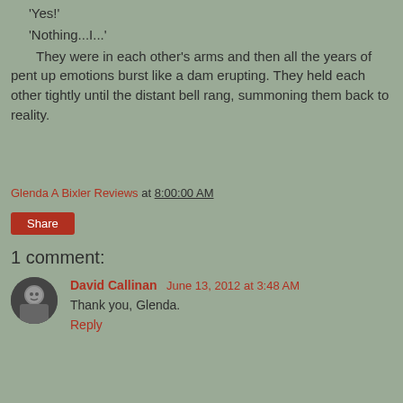Ella:
'Yes!'
'Nothing...I...'
They were in each other's arms and then all the years of pent up emotions burst like a dam erupting. They held each other tightly until the distant bell rang, summoning them back to reality.
Glenda A Bixler Reviews at 8:00:00 AM
Share
1 comment:
David Callinan  June 13, 2012 at 3:48 AM
Thank you, Glenda.
Reply